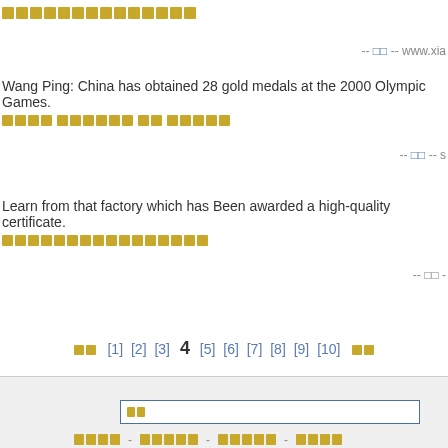□□□□□□□□□□□□□□□
-- □□ -- www.xia
Wang Ping: China has obtained 28 gold medals at the 2000 Olympic Games.
□□□□2000□□□□□□28□□□□
-- □□ -- s
Learn from that factory which has Been awarded a high-quality certificate.
□□□□□□□□□□□□□□□□
-- □□ -
□□□ [1] [2] [3] 4 [5] [6] [7] [8] [9] [10] □□□
□□
□□□□ - □□□□□ - □□□□□ - □□□□